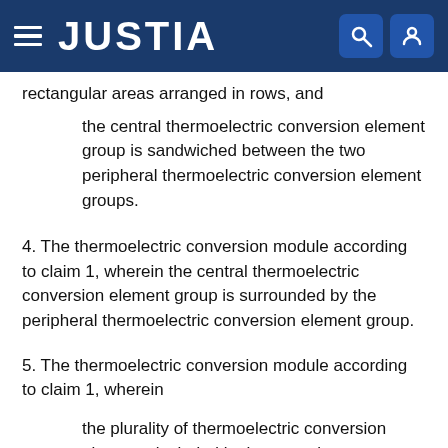JUSTIA
rectangular areas arranged in rows, and
the central thermoelectric conversion element group is sandwiched between the two peripheral thermoelectric conversion element groups.
4. The thermoelectric conversion module according to claim 1, wherein the central thermoelectric conversion element group is surrounded by the peripheral thermoelectric conversion element group.
5. The thermoelectric conversion module according to claim 1, wherein
the plurality of thermoelectric conversion elements included in the central thermoelectric conversion element group are arranged such that intervals between the plurality of thermoelectric conversion